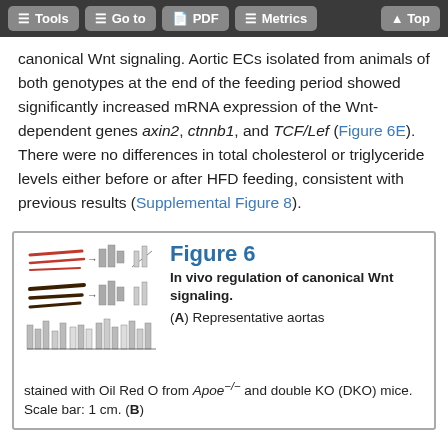Tools | Go to | PDF | Metrics | Top
canonical Wnt signaling. Aortic ECs isolated from animals of both genotypes at the end of the feeding period showed significantly increased mRNA expression of the Wnt-dependent genes axin2, ctnnb1, and TCF/Lef (Figure 6E). There were no differences in total cholesterol or triglyceride levels either before or after HFD feeding, consistent with previous results (Supplemental Figure 8).
[Figure (other): Thumbnail preview of Figure 6 showing representative aorta images stained with Oil Red O and bar charts]
Figure 6
In vivo regulation of canonical Wnt signaling.
(A) Representative aortas stained with Oil Red O from Apoe−/− and double KO (DKO) mice. Scale bar: 1 cm. (B)